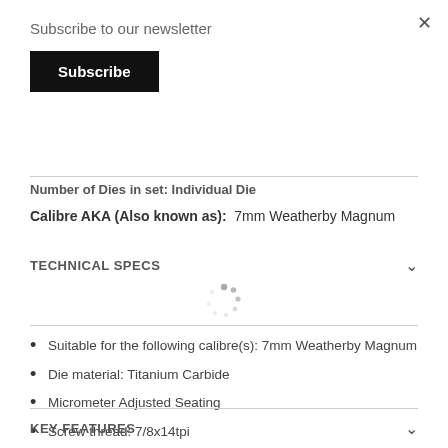Subscribe to our newsletter
Subscribe
Number of Dies in set: Individual Die
Calibre AKA (Also known as): 7mm Weatherby Magnum
TECHNICAL SPECS
[Figure (other): Loading spinner animation]
Suitable for the following calibre(s): 7mm Weatherby Magnum
Die material: Titanium Carbide
Micrometer Adjusted Seating
Screw thread: 7/8x14tpi
KEY FEATURES